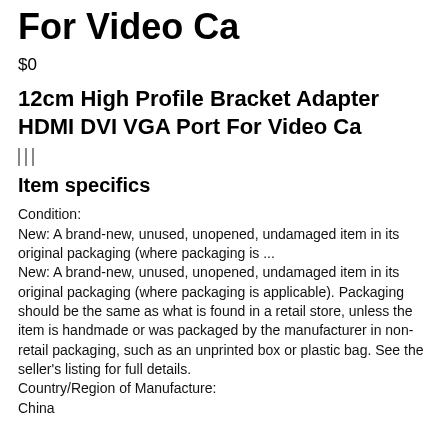For Video Ca
$0
12cm High Profile Bracket Adapter HDMI DVI VGA Port For Video Ca
|||
Item specifics
Condition:
New: A brand-new, unused, unopened, undamaged item in its original packaging (where packaging is ...
New: A brand-new, unused, unopened, undamaged item in its original packaging (where packaging is applicable). Packaging should be the same as what is found in a retail store, unless the item is handmade or was packaged by the manufacturer in non-retail packaging, such as an unprinted box or plastic bag. See the seller's listing for full details.
Country/Region of Manufacture:
China